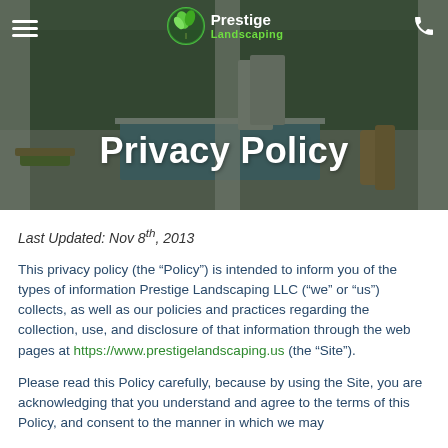[Figure (photo): Hero banner image showing an outdoor pool and patio area at dusk with green trees in background, overlaid with dark semi-transparent tint. Prestige Landscaping logo and navigation bar at top.]
Privacy Policy
Last Updated: Nov 8th, 2013
This privacy policy (the “Policy”) is intended to inform you of the types of information Prestige Landscaping LLC (“we” or “us”) collects, as well as our policies and practices regarding the collection, use, and disclosure of that information through the web pages at https://www.prestigelandscaping.us (the “Site”).
Please read this Policy carefully, because by using the Site, you are acknowledging that you understand and agree to the terms of this Policy, and consent to the manner in which we may